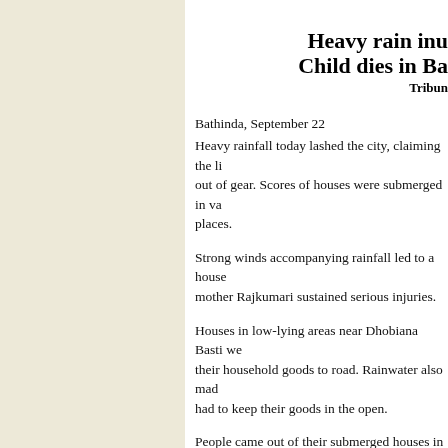Heavy rain inu
Child dies in Ba
Tribune
Bathinda, September 22
Heavy rainfall today lashed the city, claiming the life of a child and throwing normal life out of gear. Scores of houses were submerged in va... places.

Strong winds accompanying rainfall led to a house... mother Rajkumari sustained serious injuries.

Houses in low-lying areas near Dhobiana Basti we... their household goods to road. Rainwater also mad... had to keep their goods in the open.

People came out of their submerged houses in Kan... complex and Civil Lines police station were inund...

Traffic came to a standstill on the Power House roa...

Mr Amrit Lal, a resident of LIG flats in Housing B... inside their houses and there was no proper arrange... were disposing of water since the morning. Jaswan...

Erratic power supply added to the woes of the city...